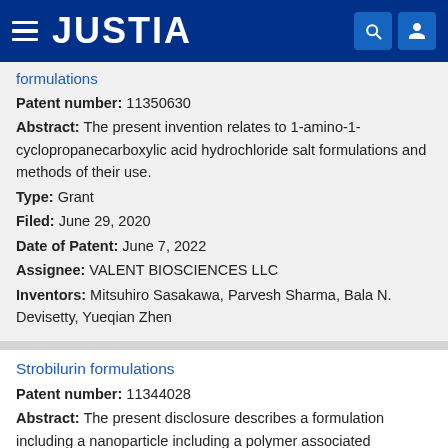JUSTIA
formulations
Patent number: 11350630
Abstract: The present invention relates to 1-amino-1-cyclopropanecarboxylic acid hydrochloride salt formulations and methods of their use.
Type: Grant
Filed: June 29, 2020
Date of Patent: June 7, 2022
Assignee: VALENT BIOSCIENCES LLC
Inventors: Mitsuhiro Sasakawa, Parvesh Sharma, Bala N. Devisetty, Yueqian Zhen
Strobilurin formulations
Patent number: 11344028
Abstract: The present disclosure describes a formulation including a nanoparticle including a polymer associated strobilurin compound with an